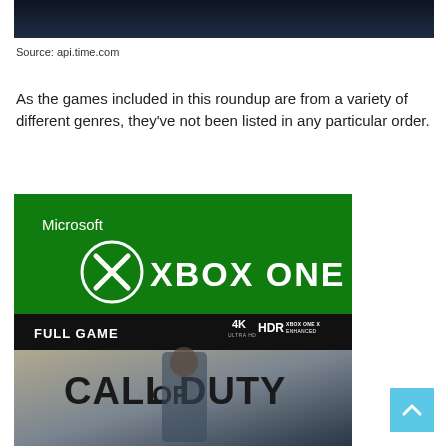[Figure (photo): Dark image strip at top of page, partially cropped]
Source: api.time.com
As the games included in this roundup are from a variety of different genres, they've not been listed in any particular order.
[Figure (photo): Microsoft Xbox One Full Game box art for Call of Duty Modern Warfare, showing green Xbox One branding at top, FULL GAME label, 4K Ultra HD / HDR / Xbox One X Enhanced badges, and Call of Duty title with soldier image below]
[Figure (illustration): Light blue scroll-to-top button with upward arrow chevron in bottom right corner]